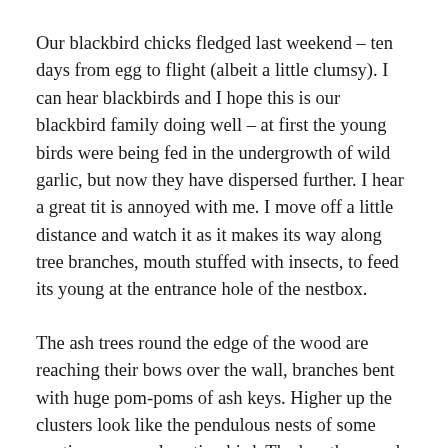Our blackbird chicks fledged last weekend – ten days from egg to flight (albeit a little clumsy). I can hear blackbirds and I hope this is our blackbird family doing well – at first the young birds were being fed in the undergrowth of wild garlic, but now they have dispersed further. I hear a great tit is annoyed with me. I move off a little distance and watch it as it makes its way along tree branches, mouth stuffed with insects, to feed its young at the entrance hole of the nestbox.
The ash trees round the edge of the wood are reaching their bows over the wall, branches bent with huge pom-poms of ash keys. Higher up the clusters look like the pendulous nests of some exotic communal nesting bird. The hawthorn and rowan blossom, so abundant but so transitory, has gone. So too has the bluebell and wild...